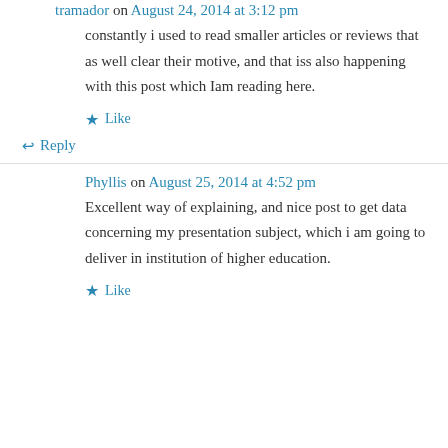tramador on August 24, 2014 at 3:12 pm
constantly i used to read smaller articles or reviews that as well clear their motive, and that iss also happening with this post which Iam reading here.
Like
↵ Reply
Phyllis on August 25, 2014 at 4:52 pm
Excellent way of explaining, and nice post to get data concerning my presentation subject, which i am going to deliver in institution of higher education.
Like